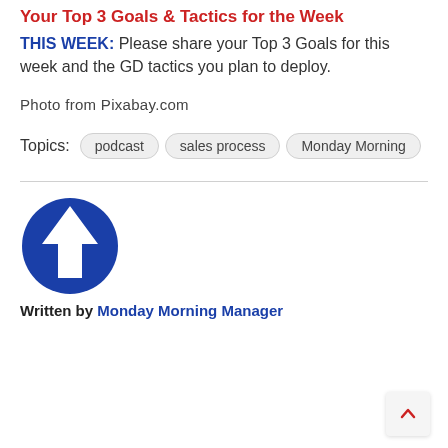Your Top 3 Goals & Tactics for the Week
THIS WEEK: Please share your Top 3 Goals for this week and the GD tactics you plan to deploy.
Photo from Pixabay.com
Topics: podcast  sales process  Monday Morning
[Figure (logo): Blue circle with white upward arrow logo for Monday Morning Manager]
Written by Monday Morning Manager